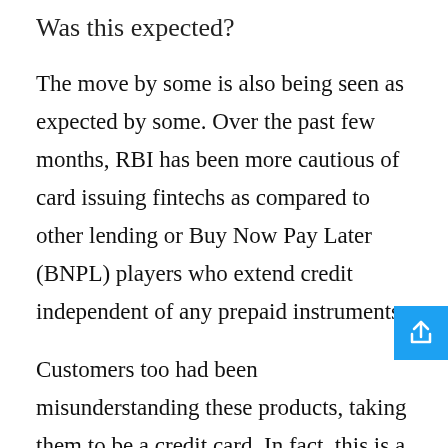Was this expected?
The move by some is also being seen as expected by some. Over the past few months, RBI has been more cautious of card issuing fintechs as compared to other lending or Buy Now Pay Later (BNPL) players who extend credit independent of any prepaid instruments.
Customers too had been misunderstanding these products, taking them to be a credit card. In fact, this is a personal loan being linked to a card, a fact that came as a shock to many customers